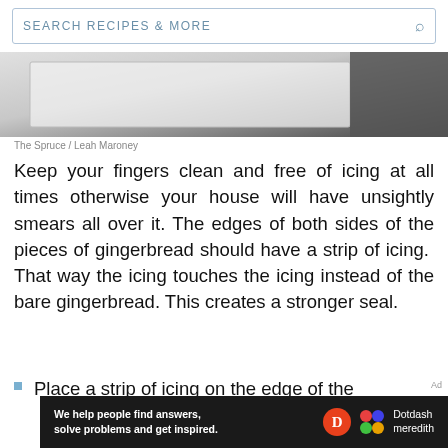SEARCH RECIPES & MORE
[Figure (photo): Close-up photo of gingerbread pieces on a dark textured surface, showing white/light colored panels against a dark background.]
The Spruce / Leah Maroney
Keep your fingers clean and free of icing at all times otherwise your house will have unsightly smears all over it. The edges of both sides of the pieces of gingerbread should have a strip of icing.  That way the icing touches the icing instead of the bare gingerbread. This creates a stronger seal.
Place a strip of icing on the edge of the